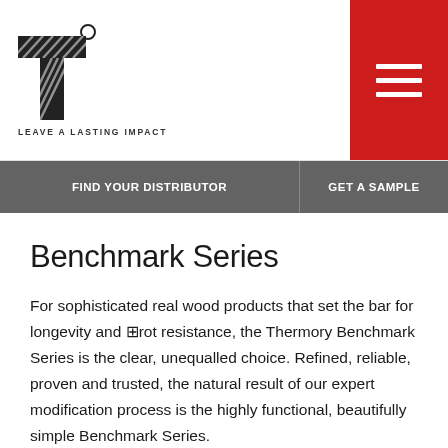[Figure (logo): Thermory logo with diagonal striped letter T and tagline LEAVE A LASTING IMPACT]
[Figure (other): Red hamburger menu button with three white horizontal lines]
FIND YOUR DISTRIBUTOR | GET A SAMPLE
Benchmark Series
For sophisticated real wood products that set the bar for longevity and rot resistance, the Thermory Benchmark Series is the clear, unequalled choice. Refined, reliable, proven and trusted, the natural result of our expert modification process is the highly functional, beautifully simple Benchmark Series.
Explore products >